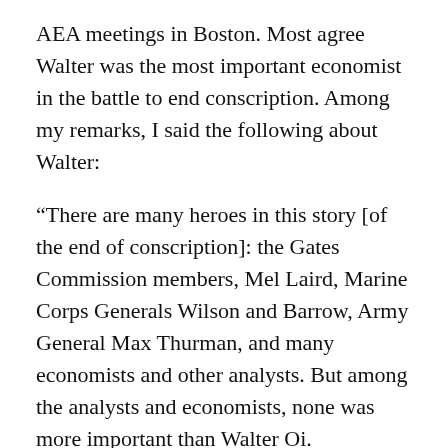AEA meetings in Boston. Most agree Walter was the most important economist in the battle to end conscription. Among my remarks, I said the following about Walter:
“There are many heroes in this story [of the end of conscription]: the Gates Commission members, Mel Laird, Marine Corps Generals Wilson and Barrow, Army General Max Thurman, and many economists and other analysts. But among the analysts and economists, none was more important than Walter Oi.
It’s tempting to cite instead the economists on the Gates Commission, Milton Friedman, Allen